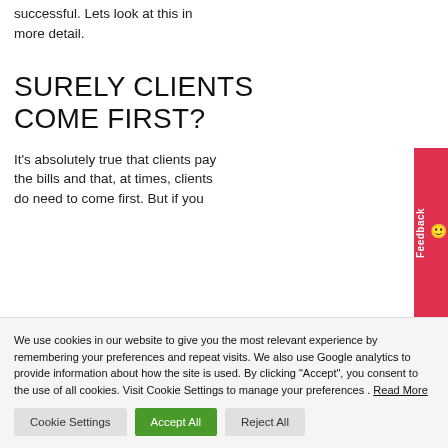successful. Lets look at this in more detail.
SURELY CLIENTS COME FIRST?
It's absolutely true that clients pay the bills and that, at times, clients do need to come first. But if you
We use cookies in our website to give you the most relevant experience by remembering your preferences and repeat visits. We also use Google analytics to provide information about how the site is used. By clicking "Accept", you consent to the use of all cookies. Visit Cookie Settings to manage your preferences . Read More
Cookie Settings | Accept All | Reject All